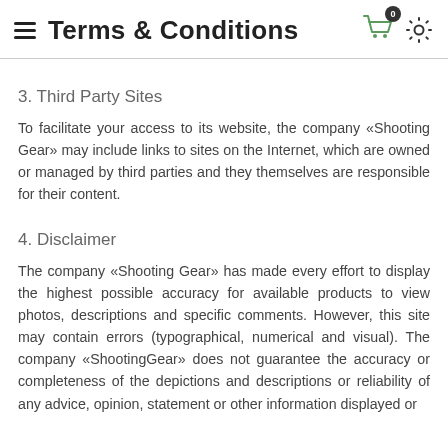Terms & Conditions
3. Third Party Sites
To facilitate your access to its website, the company «Shooting Gear» may include links to sites on the Internet, which are owned or managed by third parties and they themselves are responsible for their content.
4. Disclaimer
The company «Shooting Gear» has made every effort to display the highest possible accuracy for available products to view photos, descriptions and specific comments. However, this site may contain errors (typographical, numerical and visual). The company «ShootingGear» does not guarantee the accuracy or completeness of the depictions and descriptions or reliability of any advice, opinion, statement or other information displayed or